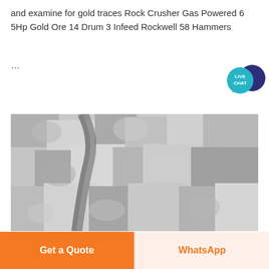and examine for gold traces Rock Crusher Gas Powered 6 5Hp Gold Ore 14 Drum 3 Infeed Rockwell 58 Hammers
...
[Figure (photo): Black and white close-up photograph of crushed rock/ore material showing rough, granular texture]
Get a Quote
WhatsApp